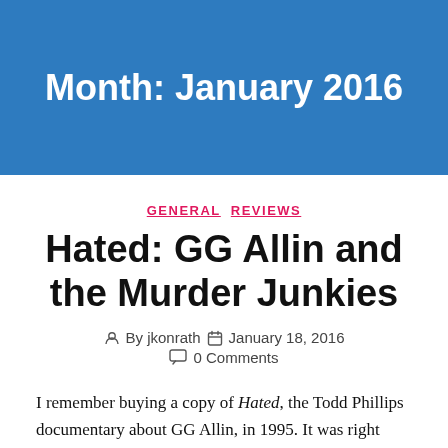Month: January 2016
GENERAL  REVIEWS
Hated: GG Allin and the Murder Junkies
By jkonrath   January 18, 2016
0 Comments
I remember buying a copy of Hated, the Todd Phillips documentary about GG Allin, in 1995. It was right after